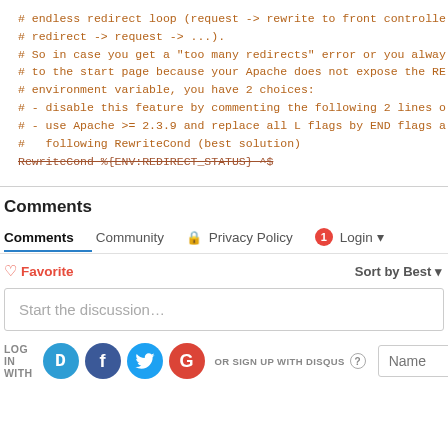# endless redirect loop (request -> rewrite to front controlle
# redirect -> request -> ...).
# So in case you get a "too many redirects" error or you alway
# to the start page because your Apache does not expose the RE
# environment variable, you have 2 choices:
# - disable this feature by commenting the following 2 lines o
# - use Apache >= 2.3.9 and replace all L flags by END flags a
#   following RewriteCond (best solution)
RewriteCond %{ENV:REDIRECT_STATUS} ^$
Comments
Comments  Community  Privacy Policy  1  Login
♡ Favorite  Sort by Best
Start the discussion…
LOG IN WITH  OR SIGN UP WITH DISQUS ?  Name